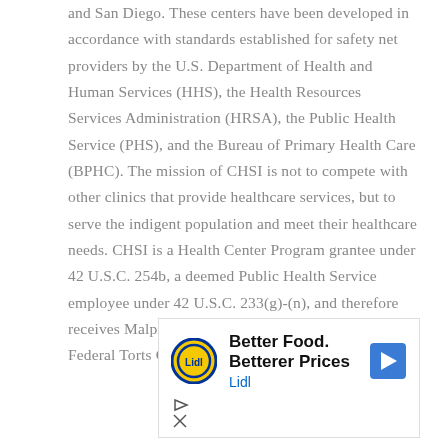and San Diego. These centers have been developed in accordance with standards established for safety net providers by the U.S. Department of Health and Human Services (HHS), the Health Resources Services Administration (HRSA), the Public Health Service (PHS), and the Bureau of Primary Health Care (BPHC). The mission of CHSI is not to compete with other clinics that provide healthcare services, but to serve the indigent population and meet their healthcare needs. CHSI is a Health Center Program grantee under 42 U.S.C. 254b, a deemed Public Health Service employee under 42 U.S.C. 233(g)-(n), and therefore receives Malpractice insurance coverage under the Federal Torts Claim Act(FTCA). As
[Figure (other): Advertisement for Lidl grocery store: 'Better Food. Betterer Prices' with Lidl logo (yellow circle with blue border and Lidl text) and a blue navigation arrow icon. Below are play and close control icons.]